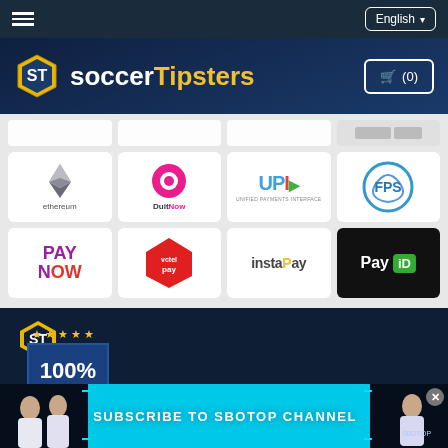SoccerTipsters website header with navigation
[Figure (logo): SoccerTipsters logo with soccer ball hexagon icon and text 'soccerTipsters' in white and yellow]
[Figure (screenshot): Payment method logos grid: Ethereum, DuitNow, UPI (Unified Payments Interface), FPS, PayNow, Vctel Pay, InstaPay, PayID]
[Figure (logo): SoccerTipsters ST hexagon logo in footer area]
[Figure (infographic): 100% Credits Back Guarantee badge with stars and yellow ribbon banner]
[Figure (screenshot): SUBSCRIBE TO SBOTOP CHANNEL banner with girls on sides and cyan background strip]